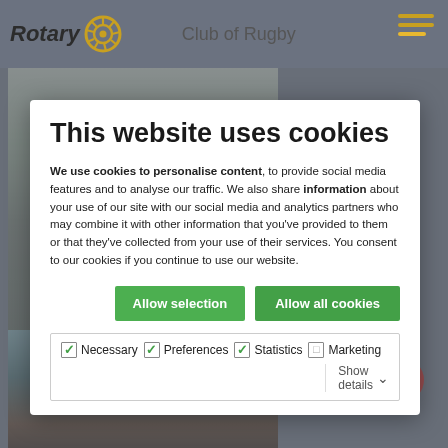Rotary Club of Rugby
This website uses cookies
We use cookies to personalise content, to provide social media features and to analyse our traffic. We also share information about your use of our site with our social media and analytics partners who may combine it with other information that you've provided to them or that they've collected from your use of their services. You consent to our cookies if you continue to use our website.
Allow selection | Allow all cookies
Necessary  Preferences  Statistics  Marketing  Show details